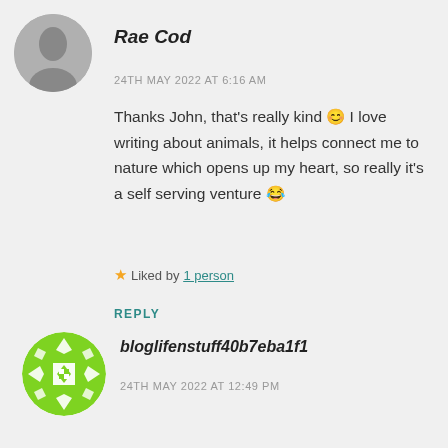[Figure (photo): Circular grayscale profile photo of a woman (Rae Cod)]
Rae Cod
24TH MAY 2022 AT 6:16 AM
Thanks John, that's really kind 😊 I love writing about animals, it helps connect me to nature which opens up my heart, so really it's a self serving venture 😂
★ Liked by 1 person
REPLY
[Figure (logo): Circular green geometric diamond pattern avatar/logo for bloglifenstuff40b7eba1f1]
bloglifenstuff40b7eba1f1
24TH MAY 2022 AT 12:49 PM